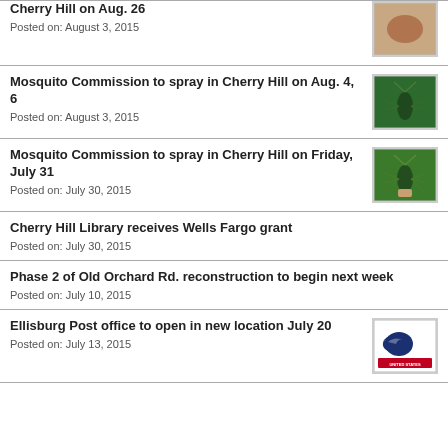Cherry Hill on Aug. 26
Posted on: August 3, 2015
Mosquito Commission to spray in Cherry Hill on Aug. 4, 6
Posted on: August 3, 2015
Mosquito Commission to spray in Cherry Hill on Friday, July 31
Posted on: July 30, 2015
Cherry Hill Library receives Wells Fargo grant
Posted on: July 30, 2015
Phase 2 of Old Orchard Rd. reconstruction to begin next week
Posted on: July 10, 2015
Ellisburg Post office to open in new location July 20
Posted on: July 13, 2015